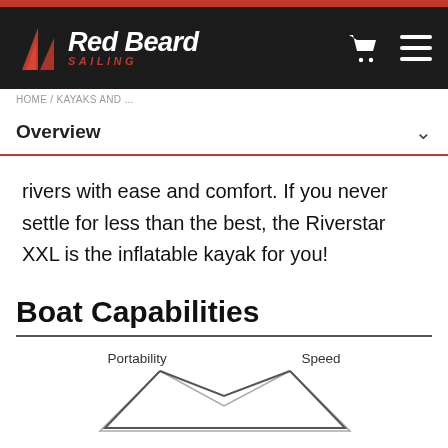[Figure (logo): Red Beard Sailing logo with red sail icon and white/red italic text on dark background]
HOME / KAYAKS AND ...
Overview
rivers with ease and comfort. If you never settle for less than the best, the Riverstar XXL is the inflatable kayak for you!
Boat Capabilities
[Figure (radar-chart): Partial radar chart showing Portability and Speed labels at top, with a polygon shape visible at bottom of frame]